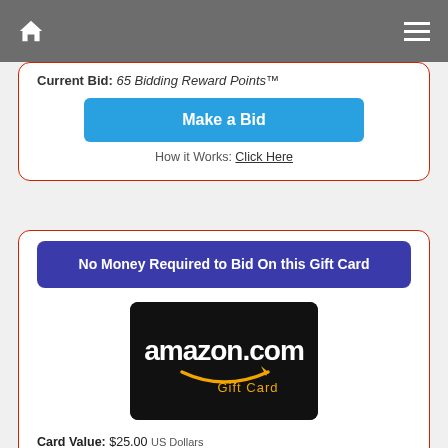Navigation bar with home icon and menu icon
Current Bid: 65 Bidding Reward Points™
Make a Bid
How it Works: Click Here
No Money Required to Bid On this Gift Card
[Figure (illustration): Amazon.com Gift Card image on black background with orange smile logo]
Card Value: $25.00 US Dollars
Company: Amazon
Bidding Ends: